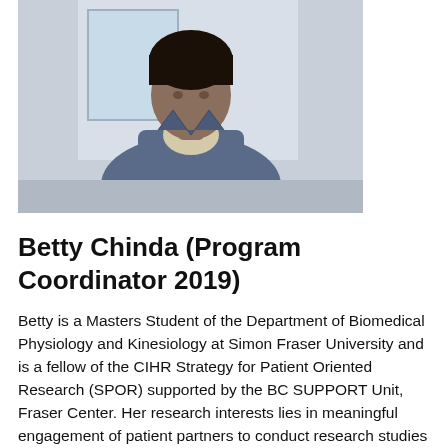[Figure (photo): Portrait photo of Betty Chinda, a woman wearing a blue jacket over a light-colored top, standing indoors]
Betty Chinda (Program Coordinator 2019)
Betty is a Masters Student of the Department of Biomedical Physiology and Kinesiology at Simon Fraser University and is a fellow of the CIHR Strategy for Patient Oriented Research (SPOR) supported by the BC SUPPORT Unit, Fraser Center. Her research interests lies in meaningful engagement of patient partners to conduct research studies that employs brain imaging techniques (MRI) to understand recovery patterns in acquired brain injury especially stroke. She also has interest in understanding the principles